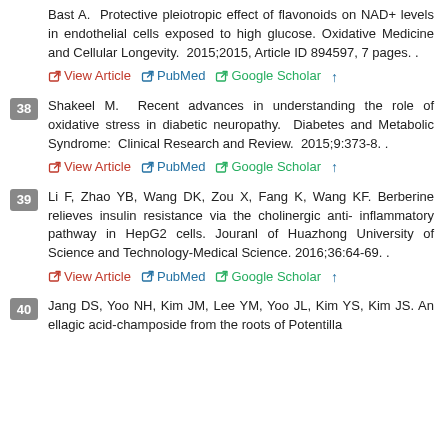Bast A. Protective pleiotropic effect of flavonoids on NAD+ levels in endothelial cells exposed to high glucose. Oxidative Medicine and Cellular Longevity. 2015;2015, Article ID 894597, 7 pages. . View Article   PubMed   Google Scholar
38. Shakeel M. Recent advances in understanding the role of oxidative stress in diabetic neuropathy. Diabetes and Metabolic Syndrome: Clinical Research and Review. 2015;9:373-8. . View Article   PubMed   Google Scholar
39. Li F, Zhao YB, Wang DK, Zou X, Fang K, Wang KF. Berberine relieves insulin resistance via the cholinergic anti-inflammatory pathway in HepG2 cells. Jouranl of Huazhong University of Science and Technology-Medical Science. 2016;36:64-69. . View Article   PubMed   Google Scholar
40. Jang DS, Yoo NH, Kim JM, Lee YM, Yoo JL, Kim YS, Kim JS. An ellagic acid-champoside from the roots of Potentilla...